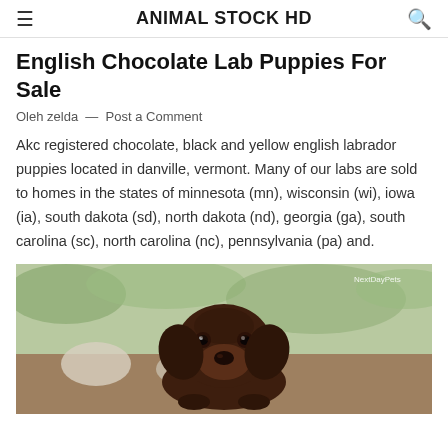ANIMAL STOCK HD
English Chocolate Lab Puppies For Sale
Oleh zelda — Post a Comment
Akc registered chocolate, black and yellow english labrador puppies located in danville, vermont. Many of our labs are sold to homes in the states of minnesota (mn), wisconsin (wi), iowa (ia), south dakota (sd), north dakota (nd), georgia (ga), south carolina (sc), north carolina (nc), pennsylvania (pa) and.
[Figure (photo): A chocolate Labrador puppy sitting and looking at the camera, with a blurred outdoor background. Watermark reads NextDayPets in top right corner.]